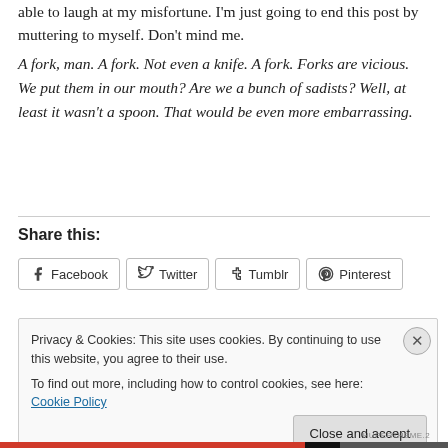able to laugh at my misfortune. I'm just going to end this post by muttering to myself. Don't mind me.
A fork, man. A fork. Not even a knife. A fork. Forks are vicious. We put them in our mouth? Are we a bunch of sadists? Well, at least it wasn't a spoon. That would be even more embarrassing.
Share this:
Facebook  Twitter  Tumblr  Pinterest
Privacy & Cookies: This site uses cookies. By continuing to use this website, you agree to their use.
To find out more, including how to control cookies, see here: Cookie Policy
Close and accept